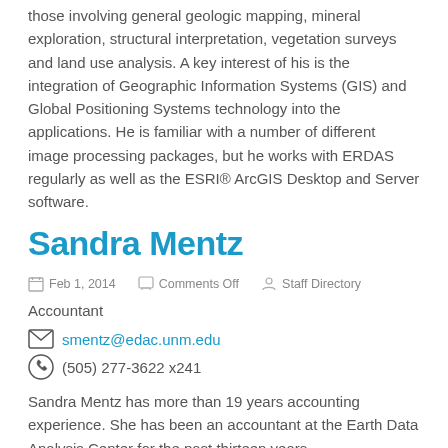those involving general geologic mapping, mineral exploration, structural interpretation, vegetation surveys and land use analysis. A key interest of his is the integration of Geographic Information Systems (GIS) and Global Positioning Systems technology into the applications. He is familiar with a number of different image processing packages, but he works with ERDAS regularly as well as the ESRI® ArcGIS Desktop and Server software.
Sandra Mentz
Feb 1, 2014  Comments Off  Staff Directory
Accountant
smentz@edac.unm.edu
(505) 277-3622 x241
Sandra Mentz has more than 19 years accounting experience. She has been an accountant at the Earth Data Analysis Center for the past thirteen years.